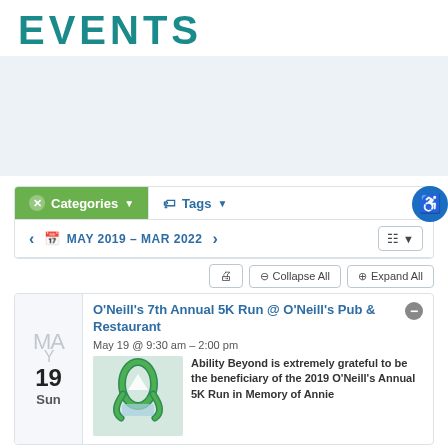EVENTS
[Figure (screenshot): Website events listing page showing Categories and Tags filter bar, date range MAY 2019 – MAR 2022, print/collapse/expand controls, and a single event card for O'Neill's 7th Annual 5K Run @ O'Neill's Pub & Restaurant on May 19 @ 9:30 am – 2:00 pm with ribbon image and partial description about Ability Beyond being grateful to be the beneficiary of the 2019 O'Neill's Annual 5K Run in Memory of Annie.]